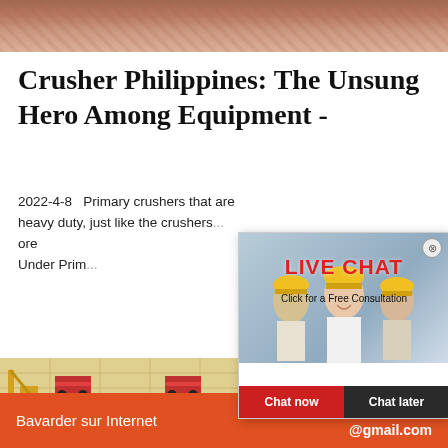[Figure (photo): Top banner photo showing crushed gravel/stone aggregate in reddish-brown tones]
Crusher Philippines: The Unsung Hero Among Equipment -
2022-4-8  Primary crushers that are heavy duty, just like the crushers... ore Under Prim...
[Figure (screenshot): Live chat popup overlay with workers in hard hats background, LIVE CHAT heading, Click for a Free Consultation subtitle, Chat now and Chat later buttons]
hour online
[Figure (photo): Customer service agent woman wearing headset]
[Figure (photo): Bottom construction site aerial view with yellow crane and red dump trucks]
Click to chat
Enquiry
Bavarder sur Internet    123zhangxq @gmail.com